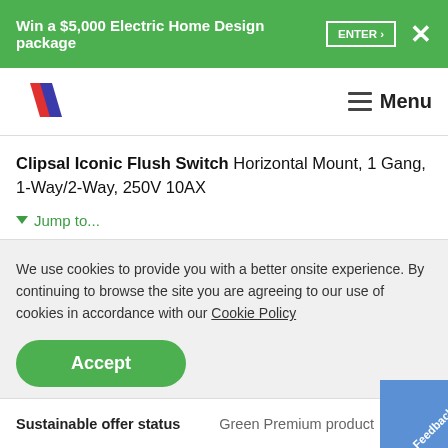Win a $5,000 Electric Home Design package  ENTER ›  ✕
[Figure (logo): Red and blue diagonal stripes logo (Clipsal/Schneider Electric)]
Menu
Clipsal Iconic Flush Switch Horizontal Mount, 1 Gang, 1-Way/2-Way, 250V 10AX
▼ Jump to...
We use cookies to provide you with a better onsite experience. By continuing to browse the site you are agreeing to our use of cookies in accordance with our Cookie Policy
Accept
| Sustainable offer status | Green Premium product |
| --- | --- |